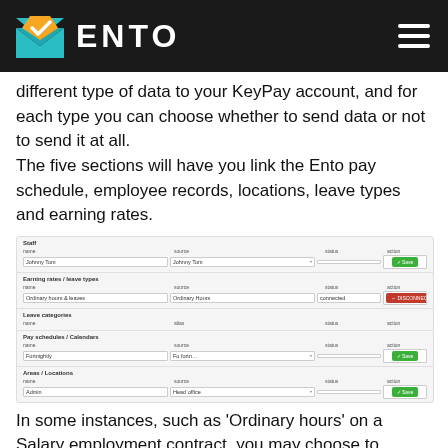ENTO
different type of data to your KeyPay account, and for each type you can choose whether to send data or not to send it at all.
The five sections will have you link the Ento pay schedule, employee records, locations, leave types and earning rates.
[Figure (screenshot): Screenshot of the Ento KeyPay integration settings page showing sections: Staff, Earning rates / leave types, Leave categories, Pay schedules / Calendars, and Areas / Locations. Each section has rows with name, source, status, and action columns. Some rows show green Save buttons, one row shows a red Disconnect button.]
In some instances, such as 'Ordinary hours' on a Salary employment contract, you may choose to handle this in